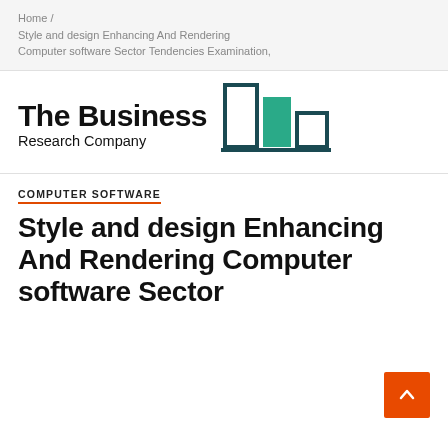Home / Style and design Enhancing And Rendering Computer software Sector Tendencies Examination,
[Figure (logo): The Business Research Company logo with stylized bar chart icon in teal and dark teal colors]
COMPUTER SOFTWARE
Style and design Enhancing And Rendering Computer software Sector